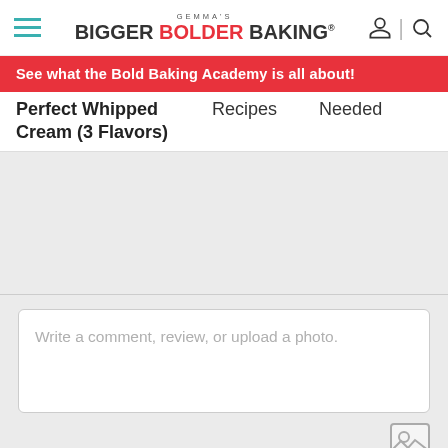GEMMA'S BIGGER BOLDER BAKING®
See what the Bold Baking Academy is all about!
Perfect Whipped Cream (3 Flavors)
Recipes
Needed
Write a comment, review, or upload a photo.
[Figure (screenshot): Photo upload icon — small image placeholder icon in gray]